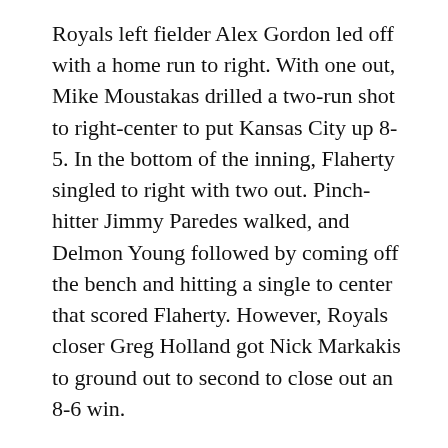Royals left fielder Alex Gordon led off with a home run to right. With one out, Mike Moustakas drilled a two-run shot to right-center to put Kansas City up 8-5. In the bottom of the inning, Flaherty singled to right with two out. Pinch-hitter Jimmy Paredes walked, and Delmon Young followed by coming off the bench and hitting a single to center that scored Flaherty. However, Royals closer Greg Holland got Nick Markakis to ground out to second to close out an 8-6 win.
In Game 2, it was the Lorenzo Cain Show. Cain went 4 for 5 with a double and an RBI, and robbed J.J. Hardy of an extra-base hit with a spectacular diving catch to end the seventh. In the ninth, Escobar broke a 4-4 tie with a single to